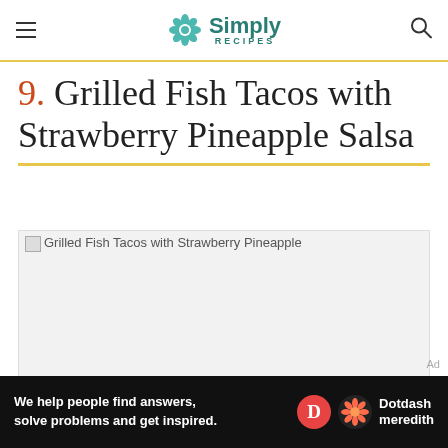Simply Recipes
9. Grilled Fish Tacos with Strawberry Pineapple Salsa
[Figure (photo): Broken/unloaded image placeholder for Grilled Fish Tacos with Strawberry Pineapple Salsa]
Ad
We help people find answers, solve problems and get inspired. Dotdash meredith